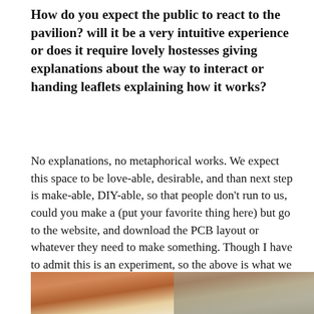How do you expect the public to react to the pavilion? will it be a very intuitive experience or does it require lovely hostesses giving explanations about the way to interact or handing leaflets explaining how it works?
No explanations, no metaphorical works. We expect this space to be love-able, desirable, and than next step is make-able, DIY-able, so that people don't run to us, could you make a (put your favorite thing here) but go to the website, and download the PCB layout or whatever they need to make something. Though I have to admit this is an experiment, so the above is what we are hoping for :)
[Figure (photo): Photograph of hands working on electronics or paper on a table, partially cropped at the bottom of the page]